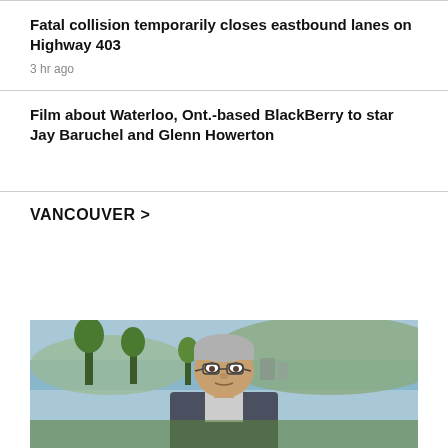Fatal collision temporarily closes eastbound lanes on Highway 403
3 hr ago
Film about Waterloo, Ont.-based BlackBerry to star Jay Baruchel and Glenn Howerton
VANCOUVER >
[Figure (photo): Outdoor photo of an older man with grey hair and glasses, standing in front of a waterfront park scene with trees and hills in the background.]